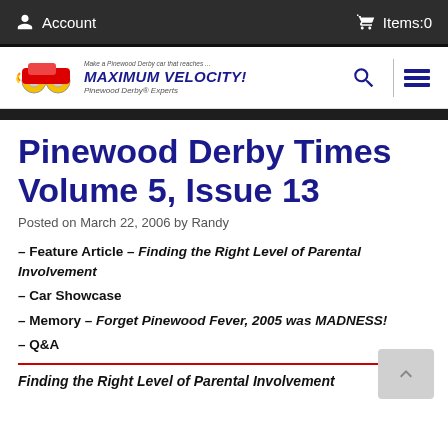Account   Items:0
[Figure (logo): Maximum Velocity! Pinewood Derby Experts logo with car graphic]
Pinewood Derby Times Volume 5, Issue 13
Posted on March 22, 2006 by Randy
– Feature Article – Finding the Right Level of Parental Involvement
– Car Showcase
– Memory – Forget Pinewood Fever, 2005 was MADNESS!
– Q&A
Finding the Right Level of Parental Involvement